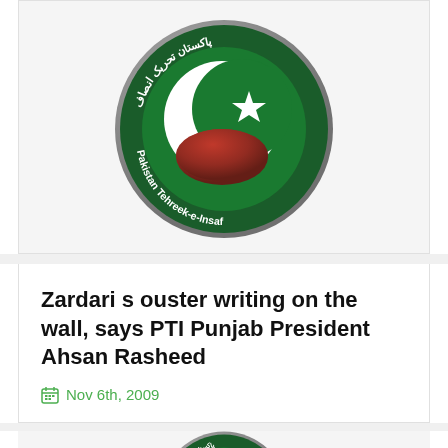[Figure (logo): Pakistan Tehreek-e-Insaf (PTI) circular logo with green background, white crescent and star, red globe, Arabic text and English text reading 'Pakistan Tehreek-e-Insaf']
Zardari s ouster writing on the wall, says PTI Punjab President Ahsan Rasheed
Nov 6th, 2009
[Figure (logo): Pakistan Tehreek-e-Insaf (PTI) circular logo partial view at bottom of page]